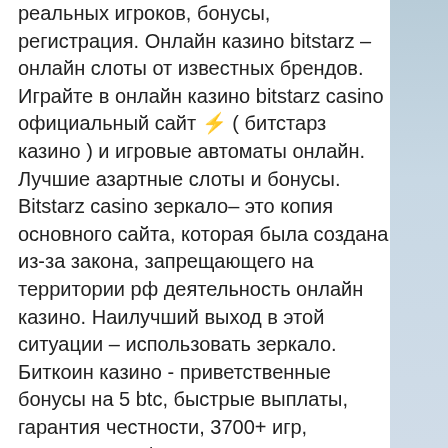реальных игроков, бонусы, регистрация. Онлайн казино bitstarz – онлайн слоты от известных брендов. Играйте в онлайн казино bitstarz casino официальный сайт ⚡ ( битстарз казино ) и игровые автоматы онлайн. Лучшие азартные слоты и бонусы. Bitstarz casino зеркало– это копия основного сайта, которая была создана из-за закона, запрещающего на территории рф деятельность онлайн казино. Наилучший выход в этой ситуации – использовать зеркало. Биткоин казино - приветственные бонусы на 5 btc, быстрые выплаты, гарантия честности, 3700+ игр, поддержка 24/7, множество валют и криптовалют. Bitcoin dice game established 2013. Instant deposits &amp; withdrawals. Register instantly &amp; gamble bitcoin. Софт: 14 видов; лицензия: curacao; русский язык/саппорт: да; дата запуска: 2014; бонус на первый депозит: 100% до €100|₽10,000 (₿1). Gilboa quarry forum -